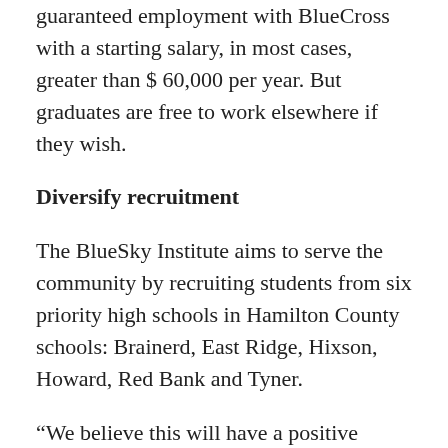guaranteed employment with BlueCross with a starting salary, in most cases, greater than $ 60,000 per year. But graduates are free to work elsewhere if they wish.
Diversify recruitment
The BlueSky Institute aims to serve the community by recruiting students from six priority high schools in Hamilton County schools: Brainerd, East Ridge, Hixson, Howard, Red Bank and Tyner.
“We believe this will have a positive community and social impact and will help the lives of many people, but we are not approaching this from a charitable perspective,” Hickey said. “We believe this will have a solid return on investment.”
The program is designed to address the growing lack of technological skills and employment opportunities in